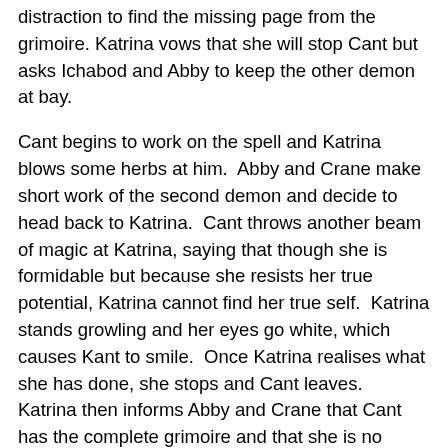distraction to find the missing page from the grimoire. Katrina vows that she will stop Cant but asks Ichabod and Abby to keep the other demon at bay.
Cant begins to work on the spell and Katrina blows some herbs at him.  Abby and Crane make short work of the second demon and decide to head back to Katrina.  Cant throws another beam of magic at Katrina, saying that though she is formidable but because she resists her true potential, Katrina cannot find her true self.  Katrina stands growling and her eyes go white, which causes Kant to smile.  Once Katrina realises what she has done, she stops and Cant leaves.  Katrina then informs Abby and Crane that Cant has the complete grimoire and that she is no longer a match for the power of his magic.  Big surprise there.  BTW who the hell gets turned so easily?
Back at the cabin, Abby asks if Katrina is able to sense the grimoire and she says that she cannot and will need time to recover.  Recover from what exactly? Abby leaves to check on a few things, suggesting that Crane and Katrina come up with a plan B.  Katrina admits to Crane that there are elements to her magic she has not explored, when he notes